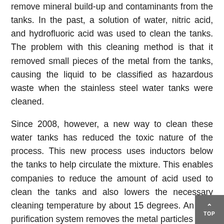remove mineral build-up and contaminants from the tanks. In the past, a solution of water, nitric acid, and hydrofluoric acid was used to clean the tanks. The problem with this cleaning method is that it removed small pieces of the metal from the tanks, causing the liquid to be classified as hazardous waste when the stainless steel water tanks were cleaned.
Since 2008, however, a new way to clean these water tanks has reduced the toxic nature of the process. This new process uses inductors below the tanks to help circulate the mixture. This enables companies to reduce the amount of acid used to clean the tanks and also lowers the necessary cleaning temperature by about 15 degrees. An acid purification system removes the metal particles from the cleaning solution, it cleans the inside of the tank. The metal...